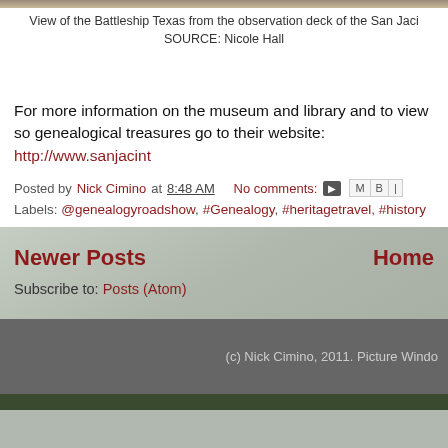View of the Battleship Texas from the observation deck of the San Jaci
SOURCE: Nicole Hall
For more information on the museum and library and to view so genealogical treasures go to their website: http://www.sanjacint
Posted by Nick Cimino at 8:48 AM   No comments:
Labels: @genealogyroadshow, #Genealogy, #heritagetravel, #history
Newer Posts    Home
Subscribe to: Posts (Atom)
(c) Nick Cimino, 2011. Picture Windo